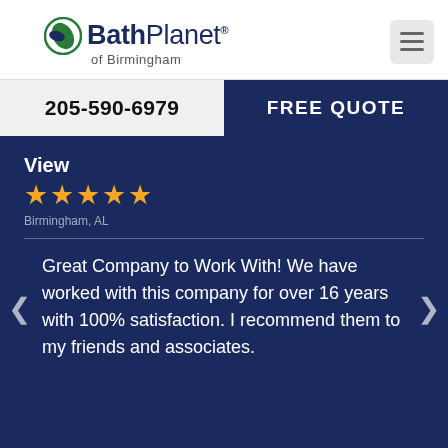Bath Planet of Birmingham
205-590-6979
FREE QUOTE
View
★★★★★
Birmingham, AL
Great Company to Work With! We have worked with this company for over 16 years with 100% satisfaction. I recommend them to my friends and associates.